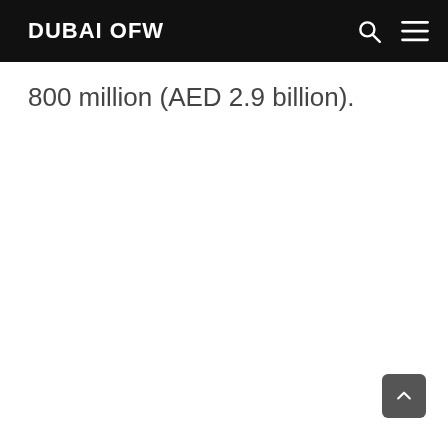DUBAI OFW
800 million (AED 2.9 billion).